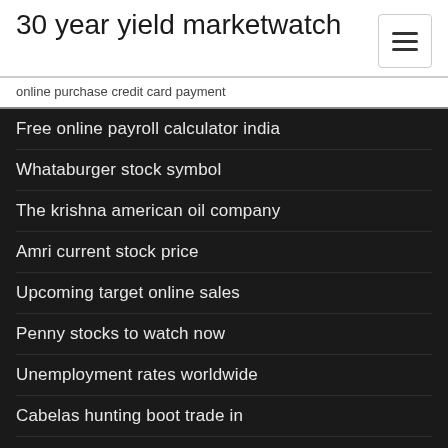30 year yield marketwatch
online purchase credit card payment
Free online payroll calculator india
Whataburger stock symbol
The krishna american oil company
Amri current stock price
Upcoming target online sales
Penny stocks to watch now
Unemployment rates worldwide
Cabelas hunting boot trade in
Argentina oil and gas reserves
Types of stock market sell orders